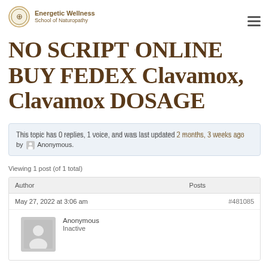Energetic Wellness School of Naturopathy
NO SCRIPT ONLINE BUY FEDEX Clavamox, Clavamox DOSAGE
This topic has 0 replies, 1 voice, and was last updated 2 months, 3 weeks ago by Anonymous.
Viewing 1 post (of 1 total)
| Author | Posts |
| --- | --- |
| May 27, 2022 at 3:06 am | #481085 |
| Anonymous
Inactive |  |
[Figure (illustration): Anonymous user avatar — grey silhouette of a person on grey background]